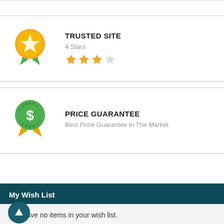[Figure (illustration): Top white border strip]
TRUSTED SITE
4 Stars
[Figure (illustration): 3 filled gold stars and 1 empty star rating]
PRICE GUARANTEE
Best Price Guarantee in The Market
My Wish List
You have no items in your wish list.